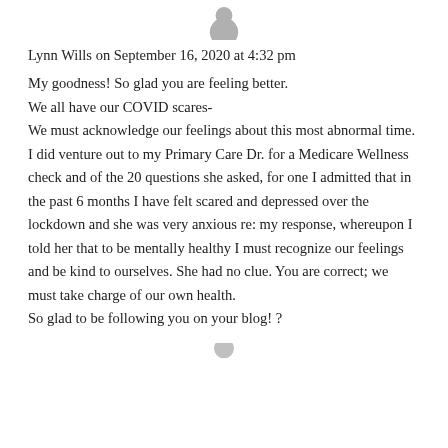[Figure (illustration): Partial gray avatar/profile circle icon at top center]
Lynn Wills on September 16, 2020 at 4:32 pm
My goodness! So glad you are feeling better. We all have our COVID scares- We must acknowledge our feelings about this most abnormal time. I did venture out to my Primary Care Dr. for a Medicare Wellness check and of the 20 questions she asked, for one I admitted that in the past 6 months I have felt scared and depressed over the lockdown and she was very anxious re: my response, whereupon I told her that to be mentally healthy I must recognize our feelings and be kind to ourselves. She had no clue. You are correct; we must take charge of our own health. So glad to be following you on your blog! ?
[Figure (illustration): Partial gray avatar/profile circle icon at bottom center]